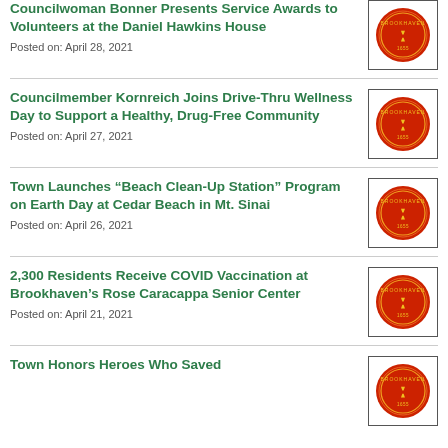Councilwoman Bonner Presents Service Awards to Volunteers at the Daniel Hawkins House
Posted on: April 28, 2021
Councilmember Kornreich Joins Drive-Thru Wellness Day to Support a Healthy, Drug-Free Community
Posted on: April 27, 2021
Town Launches “Beach Clean-Up Station” Program on Earth Day at Cedar Beach in Mt. Sinai
Posted on: April 26, 2021
2,300 Residents Receive COVID Vaccination at Brookhaven’s Rose Caracappa Senior Center
Posted on: April 21, 2021
Town Honors Heroes Who Saved